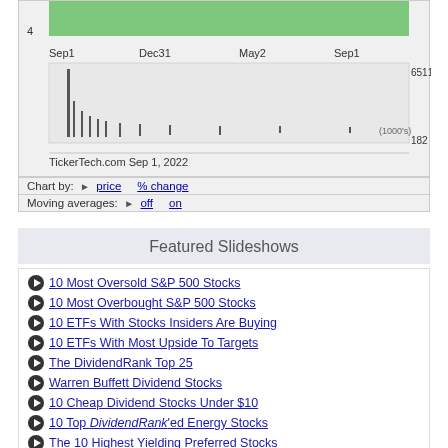[Figure (continuous-plot): Stock price and volume chart with x-axis labels Sep1, Dec31, May2, Sep1. Y-axis value 4 visible. Volume chart shows spike near Sep1 area. Labels: 65110, (1000's), 182. TickerTech.com Sep 1, 2022]
Chart by:  ▶  price    % change
Moving averages:  ▶  off    on
Featured Slideshows
10 Most Oversold S&P 500 Stocks
10 Most Overbought S&P 500 Stocks
10 ETFs With Stocks Insiders Are Buying
10 ETFs With Most Upside To Targets
The DividendRank Top 25
Warren Buffett Dividend Stocks
10 Cheap Dividend Stocks Under $10
10 Top DividendRank'ed Energy Stocks
The 10 Highest Yielding Preferred Stocks
The 10 Highest Yielding Preferred Stocks
The 15 Most Active S&P Call & Put Options